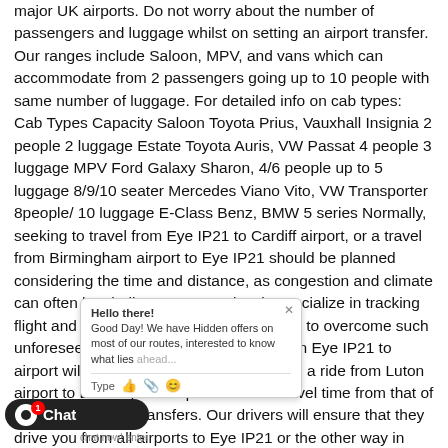major UK airports. Do not worry about the number of passengers and luggage whilst on setting an airport transfer. Our ranges include Saloon, MPV, and vans which can accommodate from 2 passengers going up to 10 people with same number of luggage. For detailed info on cab types: Cab Types Capacity Saloon Toyota Prius, Vauxhall Insignia 2 people 2 luggage Estate Toyota Auris, VW Passat 4 people 3 luggage MPV Ford Galaxy Sharon, 4/6 people up to 5 luggage 8/9/10 seater Mercedes Viano Vito, VW Transporter 8people/ 10 luggage E-Class Benz, BMW 5 series Normally, seeking to travel from Eye IP21 to Cardiff airport, or a travel from Birmingham airport to Eye IP21 should be planned considering the time and distance, as congestion and climate can often be challenge. Eye IP21 taxis specialize in tracking flight and monitoring congestion to ensure to overcome such unfortunate changes. Not all transfers from Eye IP21 to airport will require the same. For instance, a ride from Luton airport to Bromley will require different travel time from that of South end airport transfers. Our drivers will ensure that they drive you from all airports to Eye IP21 or the other way in fastest route. Airports out of London often require plenty of travel time. airport to Bromley; be it any we will take you all the way in a hassle free manner. A trip returning from Aberdeen airport or...
[Figure (screenshot): Chat popup widget with 'Hello there! Good Day! We have Hidden offers on most of our routes, interested to know what lies ahead...' message and a text input bar with Type, thumbs up, paperclip, and smiley icons, overlaying the main text.]
[Figure (screenshot): Black rounded chat button at bottom left with a white circle dot icon, a red badge showing '1', and the label 'Chat'. Below the popup shows 'chat now! enter'.]